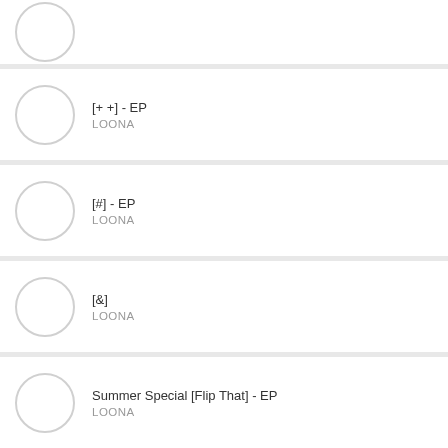(partial item at top)
[+ +] - EP
LOONA
[#] - EP
LOONA
[&]
LOONA
Summer Special [Flip That] - EP
LOONA